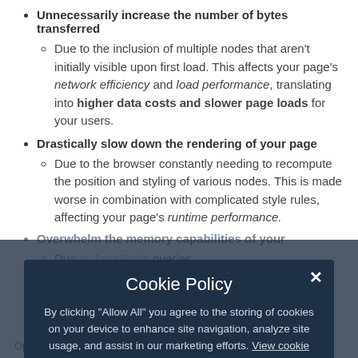Unnecessarily increase the number of bytes transferred
Due to the inclusion of multiple nodes that aren't initially visible upon first load. This affects your page's network efficiency and load performance, translating into higher data costs and slower page loads for your users.
Drastically slow down the rendering of your page
Due to the browser constantly needing to recompute the position and styling of various nodes. This is made worse in combination with complicated style rules, affecting your page's runtime performance.
Overwhelm the memory capabilities of your [browser]
Du[e to] [JavaScript] queries.
Optimizing the DOM size improves runtime performance.
[Figure (screenshot): Cookie Policy modal overlay with dark background. Title: 'Cookie Policy'. Text: 'By clicking "Allow All" you agree to the storing of cookies on your device to enhance site navigation, analyze site usage, and assist in our marketing efforts. View cookie details'. Two buttons: 'Deny' (gray) and 'Allow All' (blue). Close X button in top right.]